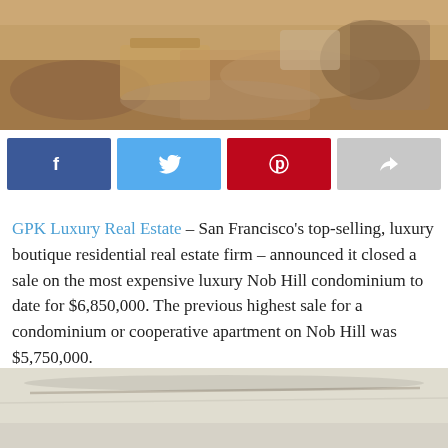[Figure (photo): Interior photo of a luxury living room with a wooden coffee table, fur rug, and upholstered chairs]
[Figure (infographic): Social media share buttons: Facebook (blue), Twitter (light blue), Pinterest (red), and a share button (gray)]
GPK Luxury Real Estate – San Francisco's top-selling, luxury boutique residential real estate firm – announced it closed a sale on the most expensive luxury Nob Hill condominium to date for $6,850,000. The previous highest sale for a condominium or cooperative apartment on Nob Hill was $5,750,000.
[Figure (photo): Interior photo showing a light-colored ceiling with molding details in a luxury residence]